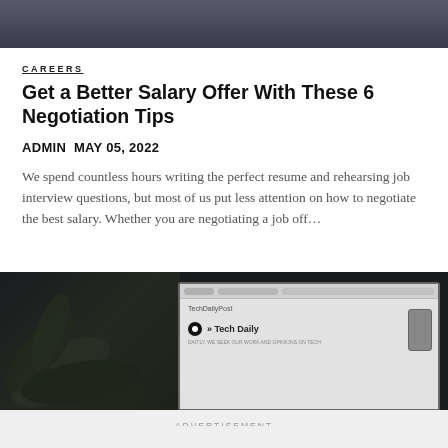[Figure (photo): Top portion of a photo showing a person, partially cropped at the top of the page]
CAREERS
Get a Better Salary Offer With These 6 Negotiation Tips
ADMIN  MAY 05, 2022
We spend countless hours writing the perfect resume and rehearsing job interview questions, but most of us put less attention on how to negotiate the best salary. Whether you are negotiating a job off…
[Figure (photo): Photo of a laptop screen showing a Tech Daily website, with a plant in the foreground, on a dark background]
ADVERTISEMENT